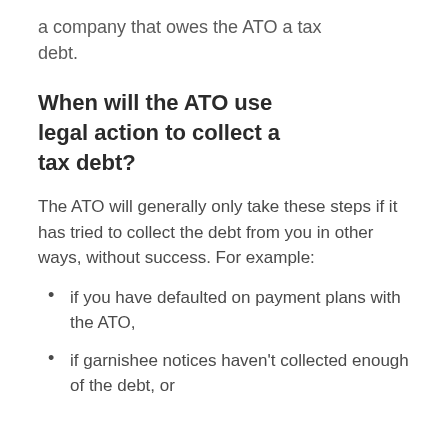a company that owes the ATO a tax debt.
When will the ATO use legal action to collect a tax debt?
The ATO will generally only take these steps if it has tried to collect the debt from you in other ways, without success. For example:
if you have defaulted on payment plans with the ATO,
if garnishee notices haven't collected enough of the debt, or